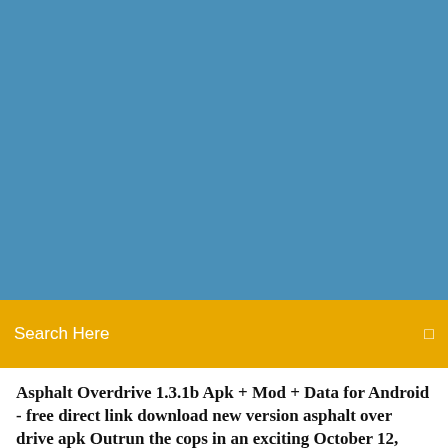[Figure (other): Blue header background banner area]
Search Here
Asphalt Overdrive 1.3.1b Apk + Mod + Data for Android - free direct link download new version asphalt over drive apk Outrun the cops in an exciting October 12, 2015
The best Android arcade racing game series reaches a new turning point! GloftA8HM' folder to 'sdcard/Android/obb/' Launch the game[/b] About 0 Downloads; Version: 2.5.0k[Unlimited Money];